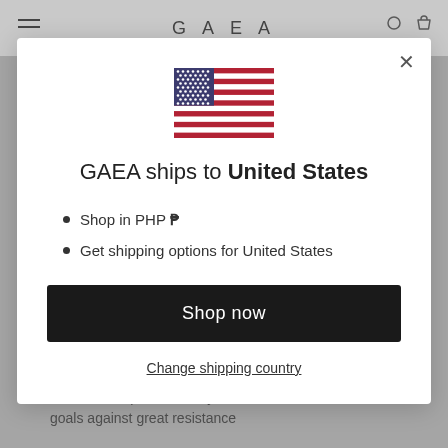GAEA
[Figure (illustration): US flag icon displayed at top of modal dialog]
GAEA ships to United States
Shop in PHP ₱
Get shipping options for United States
Shop now
Change shipping country
Enhances willpower, vitality, and endurance to achieve goals against great resistance